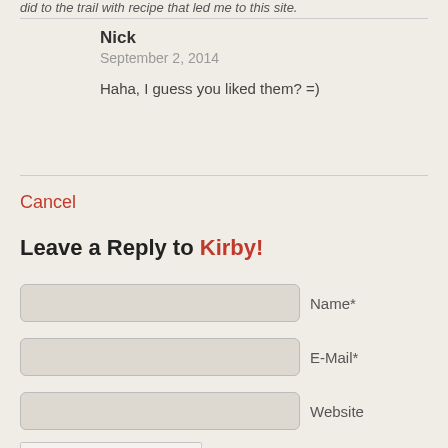did to the trail with recipe that led me to this site.
Nick
September 2, 2014
Haha, I guess you liked them? =)
Cancel
Leave a Reply to Kirby!
Name*
E-Mail*
Website